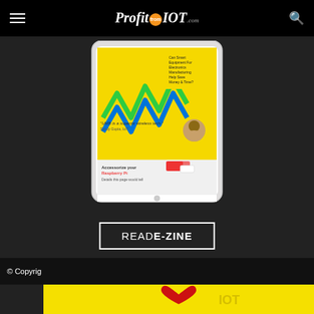ProfitfromIOT.com
[Figure (screenshot): Tablet device mockup showing a magazine/e-zine page with yellow background, zigzag green/blue lines, electronics manufacturing content, and Raspberry Pi accessories advertisement]
READ E-ZINE
© Copyright
[Figure (photo): Yellow advertisement banner with a red heart graphic and decorative elements]